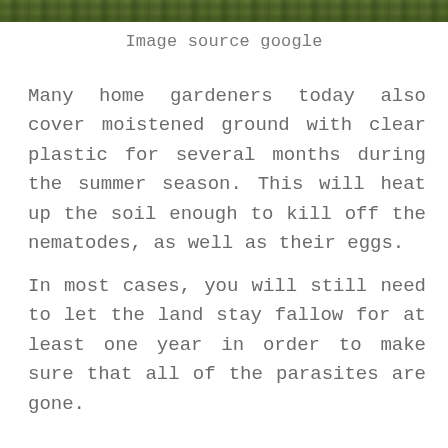[Figure (photo): A strip of green garden/grass image at the top of the page.]
Image source google
Many home gardeners today also cover moistened ground with clear plastic for several months during the summer season. This will heat up the soil enough to kill off the nematodes, as well as their eggs.
In most cases, you will still need to let the land stay fallow for at least one year in order to make sure that all of the parasites are gone.